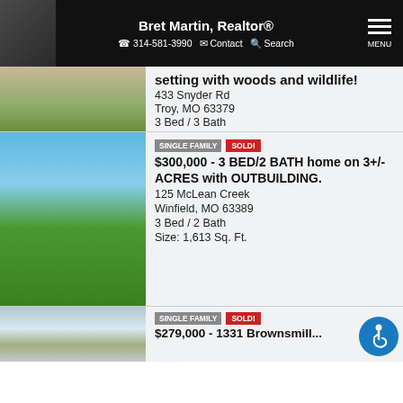Bret Martin, Realtor® | 314-581-3990 | Contact | Search | MENU
setting with woods and wildlife!
433 Snyder Rd
Troy, MO 63379
3 Bed / 3 Bath
Size: 1,960 Sq. Ft.
SINGLE FAMILY | SOLD!
$300,000 - 3 BED/2 BATH home on 3+/- ACRES with OUTBUILDING.
125 McLean Creek
Winfield, MO 63389
3 Bed / 2 Bath
Size: 1,613 Sq. Ft.
SINGLE FAMILY | SOLD!
$279,000 - 1331 Brownsmill...